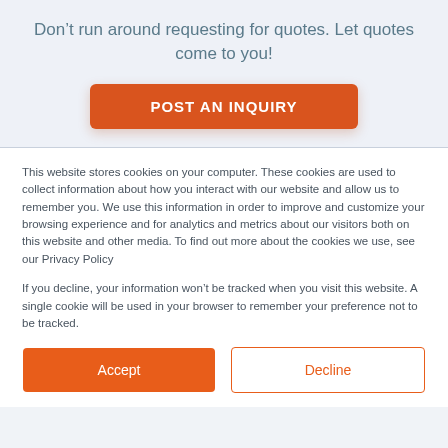Don’t run around requesting for quotes. Let quotes come to you!
[Figure (other): Orange rounded-rectangle button labeled POST AN INQUIRY]
This website stores cookies on your computer. These cookies are used to collect information about how you interact with our website and allow us to remember you. We use this information in order to improve and customize your browsing experience and for analytics and metrics about our visitors both on this website and other media. To find out more about the cookies we use, see our Privacy Policy
If you decline, your information won’t be tracked when you visit this website. A single cookie will be used in your browser to remember your preference not to be tracked.
[Figure (other): Two buttons side by side: filled orange Accept button and outlined orange Decline button]